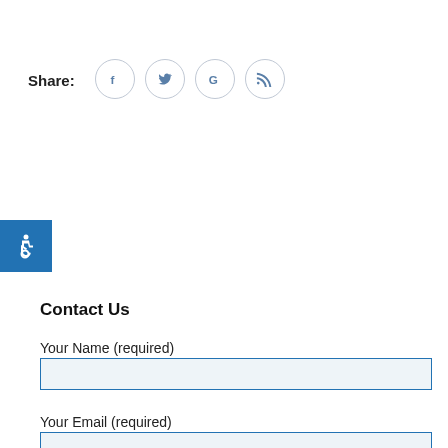Share:
[Figure (infographic): Social share icons in circles: Facebook (f), Twitter (bird), Google (G), RSS (signal icon)]
[Figure (infographic): Accessibility icon (wheelchair symbol) on blue square button]
Contact Us
Your Name (required)
Your Email (required)